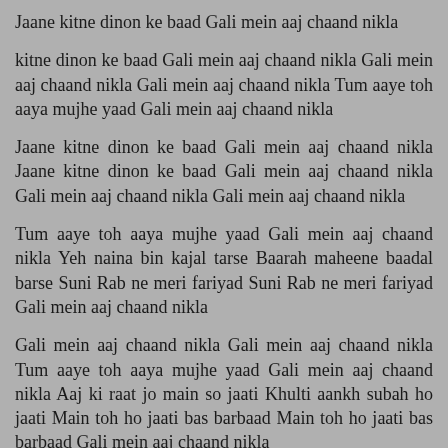Jaane kitne dinon ke baad Gali mein aaj chaand nikla
kitne dinon ke baad Gali mein aaj chaand nikla Gali mein aaj chaand nikla Gali mein aaj chaand nikla Tum aaye toh aaya mujhe yaad Gali mein aaj chaand nikla
Jaane kitne dinon ke baad Gali mein aaj chaand nikla Jaane kitne dinon ke baad Gali mein aaj chaand nikla Gali mein aaj chaand nikla Gali mein aaj chaand nikla
Tum aaye toh aaya mujhe yaad Gali mein aaj chaand nikla Yeh naina bin kajal tarse Baarah maheene baadal barse Suni Rab ne meri fariyad Suni Rab ne meri fariyad Gali mein aaj chaand nikla
Gali mein aaj chaand nikla Gali mein aaj chaand nikla Tum aaye toh aaya mujhe yaad Gali mein aaj chaand nikla Aaj ki raat jo main so jaati Khulti aankh subah ho jaati Main toh ho jaati bas barbaad Main toh ho jaati bas barbaad Gali mein aaj chaand nikla
Gali mein aaj chaand nikla Gali mein aaj chaand nikla